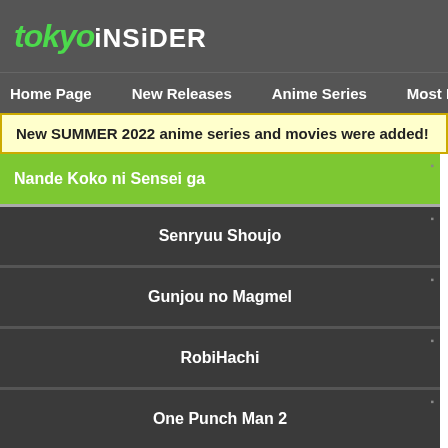tokyoiNSiDER
Home Page   New Releases   Anime Series   Most Po
New SUMMER 2022 anime series and movies were added!
Nande Koko ni Sensei ga
Senryuu Shoujo
Gunjou no Magmel
RobiHachi
One Punch Man 2
TIN > Anime Series > R > RPG Fudousan (TV) > Episode 1
Download RPG Fudousan episode 1
RPG Fudousan Episode 1.mp4